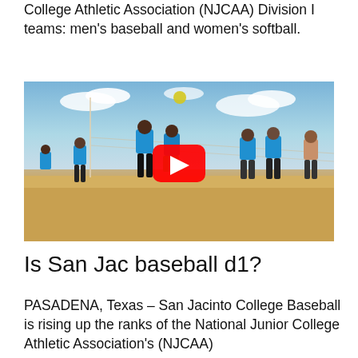College Athletic Association (NJCAA) Division I teams: men's baseball and women's softball.
[Figure (photo): Beach volleyball scene with players in blue shirts on sandy court, YouTube play button overlay in center]
Is San Jac baseball d1?
PASADENA, Texas – San Jacinto College Baseball is rising up the ranks of the National Junior College Athletic Association's (NJCAA)